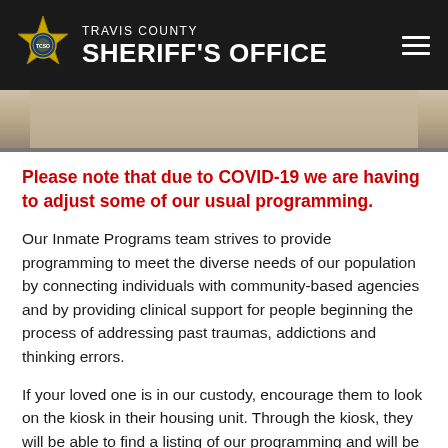TRAVIS COUNTY SHERIFF'S OFFICE
[Figure (photo): Partial view of a beige/tan interior wall or surface, cropped photo strip]
Please note that due to COVID-19 we are having to adjust some of our usual programming.
Our Inmate Programs team strives to provide programming to meet the diverse needs of our population by connecting individuals with community-based agencies and by providing clinical support for people beginning the process of addressing past traumas, addictions and thinking errors.
If your loved one is in our custody, encourage them to look on the kiosk in their housing unit. Through the kiosk, they will be able to find a listing of our programming and will be able to send an electronic request to inquire about